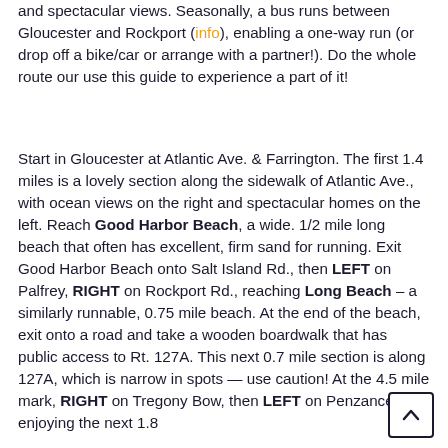and spectacular views. Seasonally, a bus runs between Gloucester and Rockport (info), enabling a one-way run (or drop off a bike/car or arrange with a partner!). Do the whole route our use this guide to experience a part of it!
Start in Gloucester at Atlantic Ave. & Farrington. The first 1.4 miles is a lovely section along the sidewalk of Atlantic Ave., with ocean views on the right and spectacular homes on the left. Reach Good Harbor Beach, a wide. 1/2 mile long beach that often has excellent, firm sand for running. Exit Good Harbor Beach onto Salt Island Rd., then LEFT on Palfrey, RIGHT on Rockport Rd., reaching Long Beach – a similarly runnable, 0.75 mile beach. At the end of the beach, exit onto a road and take a wooden boardwalk that has public access to Rt. 127A. This next 0.7 mile section is along 127A, which is narrow in spots — use caution! At the 4.5 mile mark, RIGHT on Tregony Bow, then LEFT on Penzance Rd., enjoying the next 1.8
[Figure (other): Scroll-to-top navigation button with upward chevron arrow, bottom-right corner]